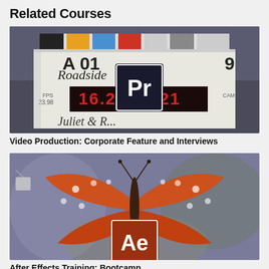Related Courses
[Figure (photo): Adobe Premiere Pro course thumbnail showing a film clapperboard with timecode display reading 16:27:34:21, scene labeled 'Roadside', with Adobe Premiere Pro logo overlay]
Video Production: Corporate Feature and Interviews
[Figure (photo): Adobe After Effects course thumbnail showing a close-up of an orange monarch butterfly with wings spread, with Adobe After Effects logo overlay]
After Effects Training: Bootcamp